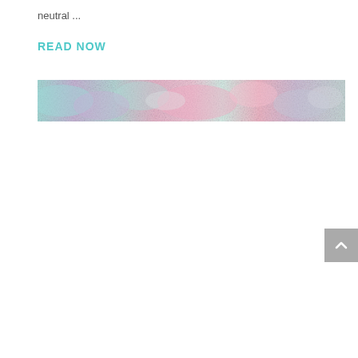neutral ...
READ NOW
[Figure (illustration): A horizontal banner image showing an iridescent/holographic texture with pastel colors including teal, pink, lavender, and silver shimmering tones.]
[Figure (other): A grey square button with a white upward-pointing chevron arrow, used as a back-to-top navigation button.]